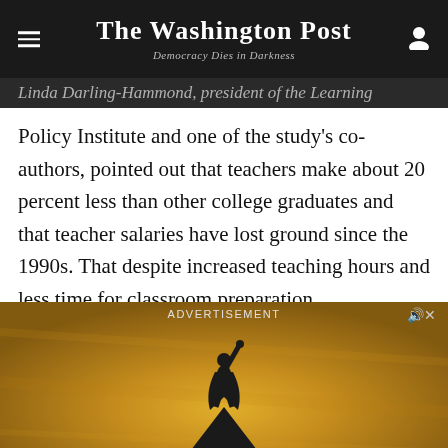The Washington Post — Democracy Dies in Darkness
Linda Darling-Hammond, president of the Learning Policy Institute and one of the study's co-authors, pointed out that teachers make about 20 percent less than other college graduates and that teacher salaries have lost ground since the 1990s. That despite increased teaching hours and less time for classroom preparation.
[Figure (illustration): Advertisement banner for Hamilton musical in Washington D.C. featuring a silhouette of a person with arm raised against a golden textured background, with a black star shape and text 'WASHINGTON, D.C.' at the bottom.]